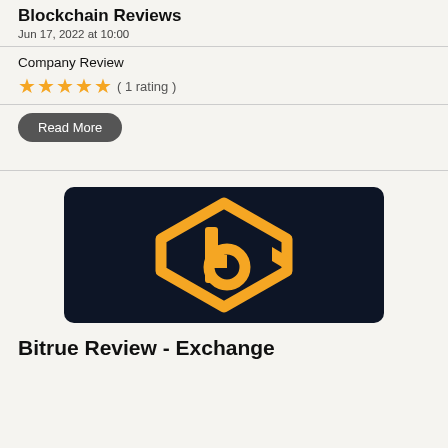Blockchain Reviews
Jun 17, 2022 at 10:00
Company Review
★★★★★ ( 1 rating )
Read More
[Figure (logo): Dark navy background with orange hexagonal 'b' logo mark for Bitrue exchange]
Bitrue Review - Exchange